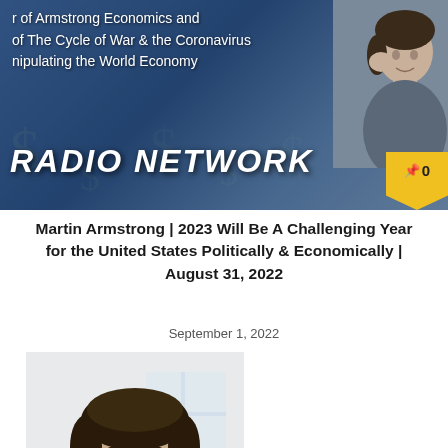[Figure (photo): Banner image with blue/money background showing text about Armstrong Economics and The Cycle of War & the Coronavirus, Manipulating the World Economy. A radio network logo text reading 'RADIO NETWORK' in large italic font. A person's photo in upper right corner. A yellow pin badge with '0' in lower right.]
Martin Armstrong | 2023 Will Be A Challenging Year for the United States Politically & Economically | August 31, 2022
September 1, 2022
[Figure (photo): Photo of a man with dark hair and beard, smiling, wearing a light colored shirt, against a blurred light background.]